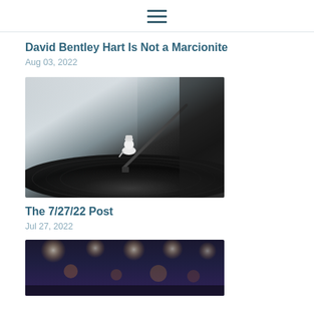☰ (hamburger menu icon)
David Bentley Hart Is Not a Marcionite
Aug 03, 2022
[Figure (photo): Close-up photo of a vinyl record turntable with a small figurine (resembling Pinocchio or a cartoon character) sitting on the tonearm/record, dark moody background with soft light]
The 7/27/22 Post
Jul 27, 2022
[Figure (photo): Blurred photo of a room or theater with ceiling lights and bokeh effect, warm amber and blue tones, partial view cropped at bottom]